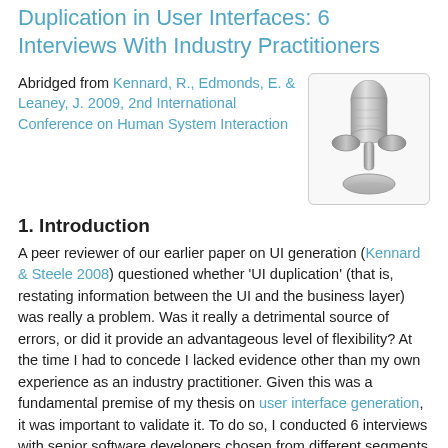Duplication in User Interfaces: 6 Interviews With Industry Practitioners
Abridged from Kennard, R., Edmonds, E. & Leaney, J. 2009, 2nd International Conference on Human System Interaction
[Figure (photo): A silver/grey microphone icon on a light grey background, centered in a rounded-corner box]
1. Introduction
A peer reviewer of our earlier paper on UI generation (Kennard & Steele 2008) questioned whether 'UI duplication' (that is, restating information between the UI and the business layer) was really a problem. Was it really a detrimental source of errors, or did it provide an advantageous level of flexibility? At the time I had to concede I lacked evidence other than my own experience as an industry practitioner. Given this was a fundamental premise of my thesis on user interface generation, it was important to validate it. To do so, I conducted 6 interviews with senior software developers chosen from different segments of